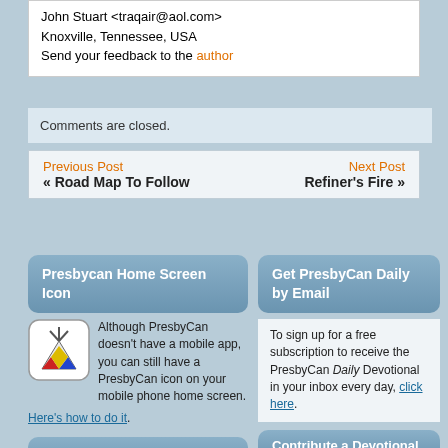John Stuart <traqair@aol.com>
Knoxville, Tennessee, USA
Send your feedback to the author
Comments are closed.
Previous Post
« Road Map To Follow
Next Post
Refiner's Fire »
Presbycan Home Screen Icon
Although PresbyCan doesn't have a mobile app, you can still have a PresbyCan icon on your mobile phone home screen. Here's how to do it.
Get PresbyCan Daily by Email
To sign up for a free subscription to receive the PresbyCan Daily Devotional in your inbox every day, click here.
Contribute a Devotional
All our devotionals are contributed by our readers on a voluntary basis. Pray about contributing a devotional — we are a community
Search and Translate